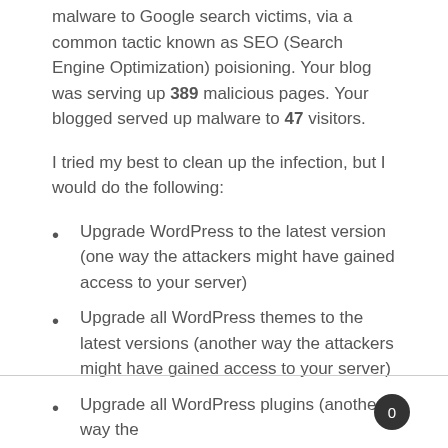malware to Google search victims, via a common tactic known as SEO (Search Engine Optimization) poisioning. Your blog was serving up 389 malicious pages. Your blogged served up malware to 47 visitors.
I tried my best to clean up the infection, but I would do the following:
Upgrade WordPress to the latest version (one way the attackers might have gained access to your server)
Upgrade all WordPress themes to the latest versions (another way the attackers might have gained access to your server)
Upgrade all WordPress plugins (another way the
0